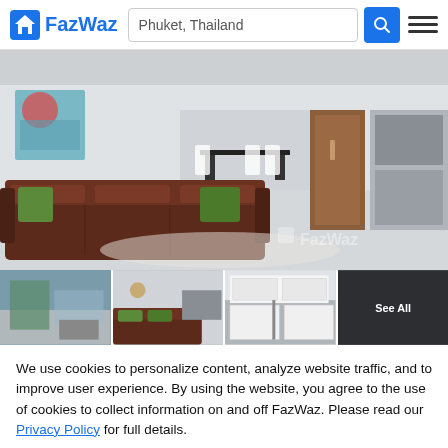FazWaz — Phuket, Thailand
[Figure (photo): Main interior photo of a modern apartment living room with brown leather sofa, green cushions, dining area and kitchen in background. FazWaz watermark visible.]
[Figure (photo): Four thumbnail photos of apartment interior: living room with outdoor view, living room with sofa, kitchen with white cabinets, and a dark fourth image with 'See All' text overlay.]
We use cookies to personalize content, analyze website traffic, and to improve user experience. By using the website, you agree to the use of cookies to collect information on and off FazWaz. Please read our Privacy Policy for full details.
Accept
Learn more